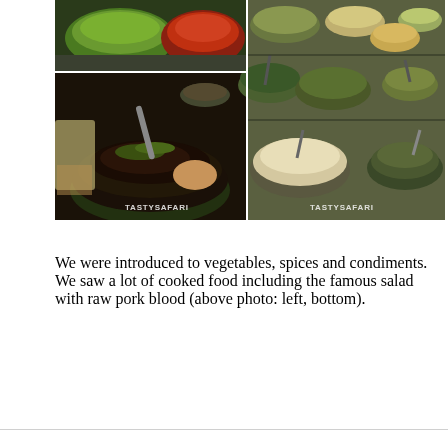[Figure (photo): Food photo collage showing spices, condiments, and cooked dishes including colorful spice powders (green, red) in bowls top-left, a dark salad dish with raw pork blood being mixed bottom-left, and multiple metal cooking pots with various curries and cooked foods on the right. Watermark reads TASTYSAFARI.]
We were introduced to vegetables, spices and condiments. We saw a lot of cooked food including the famous salad with raw pork blood (above photo: left, bottom).